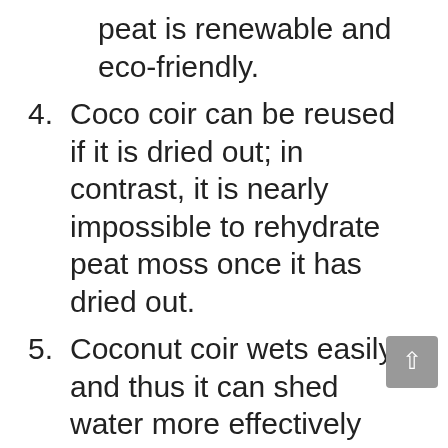peat is renewable and eco-friendly.
4. Coco coir can be reused if it is dried out; in contrast, it is nearly impossible to rehydrate peat moss once it has dried out.
5. Coconut coir wets easily and thus it can shed water more effectively than peat moss
Which One Is The Winner?